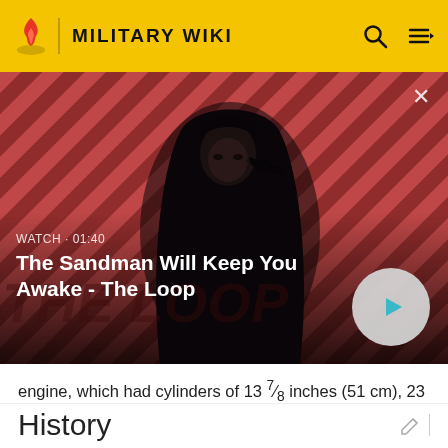MILITARY WIKI
[Figure (screenshot): Video thumbnail showing a dark-cloaked figure with a raven on their shoulder against a red diagonal striped background. Title reads 'The Sandman Will Keep You Awake - The Loop'. Watch time 01:40 shown with play button.]
engine, which had cylinders of 13 ⁷⁄₈ inches (51 cm), 23 ¾ inches (59 cm) and 38 ³⁄₁₆ inches (97.0 cm) diameter by 25 ³⁄₅ inches (65 cm) stroke. The engine was built by Howaldtswerke.[2]
History